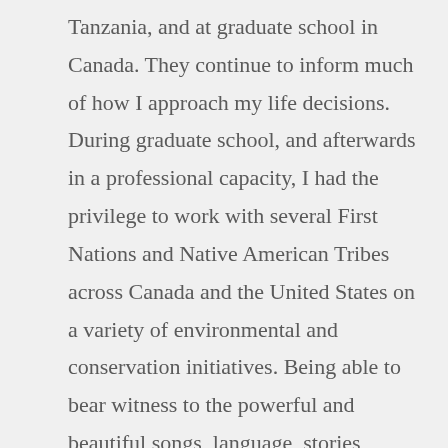Tanzania, and at graduate school in Canada. They continue to inform much of how I approach my life decisions. During graduate school, and afterwards in a professional capacity, I had the privilege to work with several First Nations and Native American Tribes across Canada and the United States on a variety of environmental and conservation initiatives. Being able to bear witness to the powerful and beautiful songs, language, stories, ceremonies, and relationships that many of these people and Elders shared with each other and the land – culture and relationships which were almost